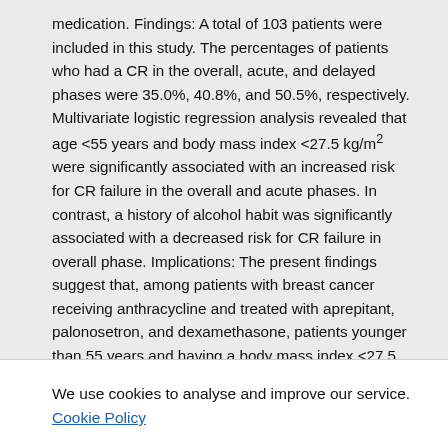medication. Findings: A total of 103 patients were included in this study. The percentages of patients who had a CR in the overall, acute, and delayed phases were 35.0%, 40.8%, and 50.5%, respectively. Multivariate logistic regression analysis revealed that age <55 years and body mass index <27.5 kg/m2 were significantly associated with an increased risk for CR failure in the overall and acute phases. In contrast, a history of alcohol habit was significantly associated with a decreased risk for CR failure in overall phase. Implications: The present findings suggest that, among patients with breast cancer receiving anthracycline and treated with aprepitant, palonosetron, and dexamethasone, patients younger than 55 years and having a body mass index <27.5 kg/m2 are high-risk populations for chemotherapy-induced nausea and vomiting, whereas those with a history of habitual alcohol consumption is a low-risk one.
Original language
We use cookies to analyse and improve our service. Cookie Policy